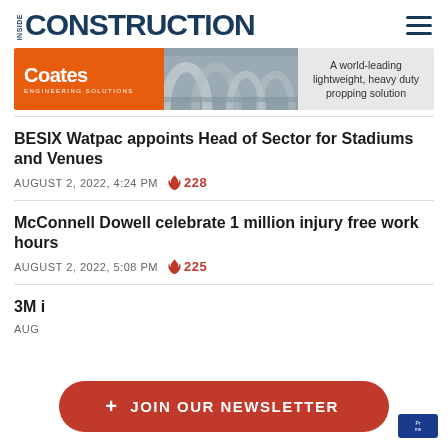INSIDE CONSTRUCTION
[Figure (photo): Coates Engineering Solutions advertisement banner showing structural concrete forms/scaffolding with text 'A world-leading lightweight, heavy duty propping solution']
BESIX Watpac appoints Head of Sector for Stadiums and Venues
AUGUST 2, 2022, 4:24 PM  🔥 228
McConnell Dowell celebrate 1 million injury free work hours
AUGUST 2, 2022, 5:08 PM  🔥 225
3M i...
AUG...
+ JOIN OUR NEWSLETTER